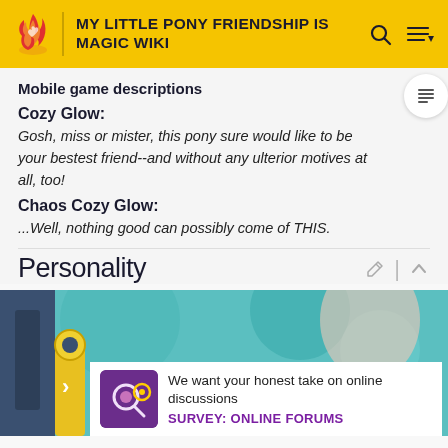MY LITTLE PONY FRIENDSHIP IS MAGIC WIKI
Mobile game descriptions
Cozy Glow:
Gosh, miss or mister, this pony sure would like to be your bestest friend--and without any ulterior motives at all, too!
Chaos Cozy Glow:
...Well, nothing good can possibly come of THIS.
Personality
[Figure (screenshot): Colorful cartoon image showing My Little Pony character scene with teal/blue background]
We want your honest take on online discussions
SURVEY: ONLINE FORUMS